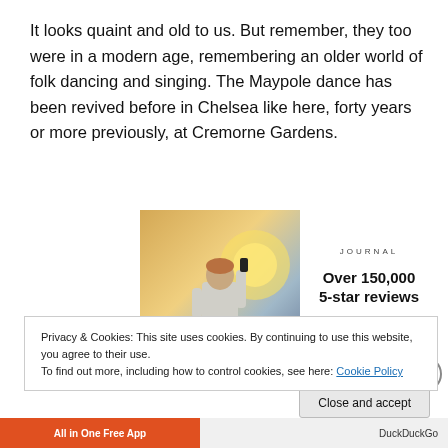It looks quaint and old to us. But remember, they too were in a modern age, remembering an older world of folk dancing and singing. The Maypole dance has been revived before in Chelsea like here, forty years or more previously, at Cremorne Gardens.
[Figure (photo): Person photographed from behind, holding a smartphone up toward a sunset or bright sky, standing on rocky terrain. Adjacent to advertisement for a Journal with text 'Over 150,000 5-star reviews' and five star icons.]
Privacy & Cookies: This site uses cookies. By continuing to use this website, you agree to their use.
To find out more, including how to control cookies, see here: Cookie Policy
Close and accept